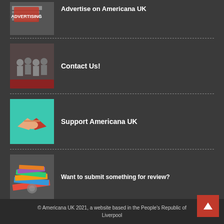[Figure (photo): Advertising image with newspaper and red ADVERTISING stamp]
Advertise on Americana UK
[Figure (photo): Group of people sitting together at a venue]
Contact Us!
[Figure (illustration): Handshake illustration on teal background]
Support Americana UK
[Figure (photo): Pile of magazines and CDs for review]
Want to submit something for review?
© Americana UK 2021, a website based in the People's Republic of Liverpool